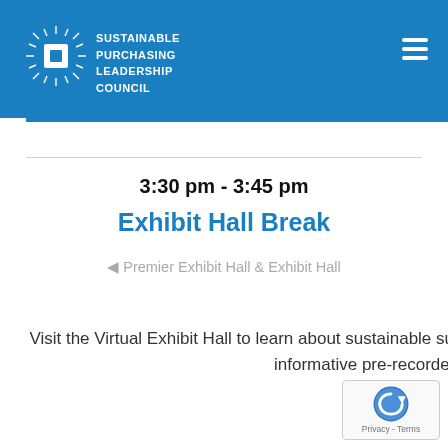SUSTAINABLE PURCHASING LEADERSHIP COUNCIL
3:30 pm - 3:45 pm
Exhibit Hall Break
Premier Exhibit Hall & Exhibit Hall
Visit the Virtual Exhibit Hall to learn about sustainable suppliers' goods and services, live chat with exhibitors, watch informative pre-recorded presentations, and more!